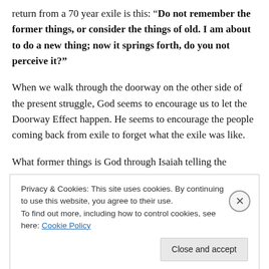return from a 70 year exile is this: “Do not remember the former things, or consider the things of old. I am about to do a new thing; now it springs forth, do you not perceive it?”
When we walk through the doorway on the other side of the present struggle, God seems to encourage us to let the Doorway Effect happen. He seems to encourage the people coming back from exile to forget what the exile was like.
What former things is God through Isaiah telling the
Privacy & Cookies: This site uses cookies. By continuing to use this website, you agree to their use.
To find out more, including how to control cookies, see here: Cookie Policy